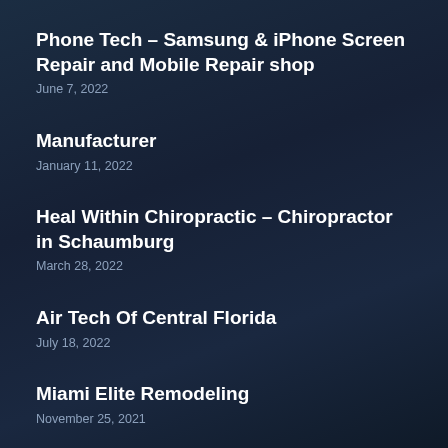Phone Tech – Samsung & iPhone Screen Repair and Mobile Repair shop
June 7, 2022
Manufacturer
January 11, 2022
Heal Within Chiropractic – Chiropractor in Schaumburg
March 28, 2022
Air Tech Of Central Florida
July 18, 2022
Miami Elite Remodeling
November 25, 2021